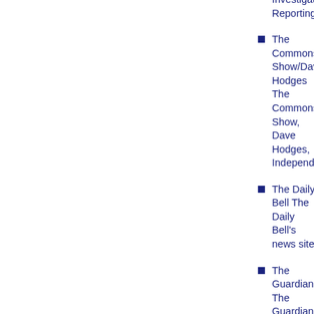Investigative Reporting
The Commons Show/Dave Hodges The Commons Show, Dave Hodges, Independent
The Daily Bell The Daily Bell's news site
The Guardian The Guardian's news site
The Shift